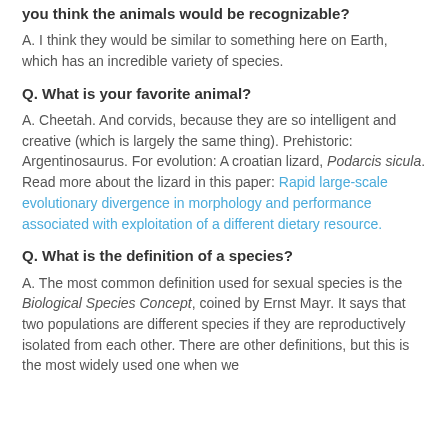you think the animals would be recognizable?
A. I think they would be similar to something here on Earth, which has an incredible variety of species.
Q. What is your favorite animal?
A. Cheetah. And corvids, because they are so intelligent and creative (which is largely the same thing). Prehistoric: Argentinosaurus. For evolution: A croatian lizard, Podarcis sicula. Read more about the lizard in this paper: Rapid large-scale evolutionary divergence in morphology and performance associated with exploitation of a different dietary resource.
Q. What is the definition of a species?
A. The most common definition used for sexual species is the Biological Species Concept, coined by Ernst Mayr. It says that two populations are different species if they are reproductively isolated from each other. There are other definitions, but this is the most widely used one when we